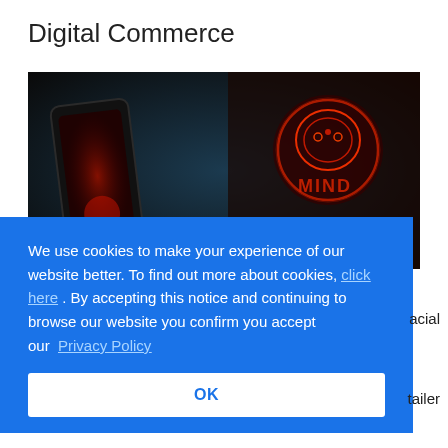Digital Commerce
[Figure (photo): A hand holding a smartphone with a dark background and a neon red brain/skull logo on the right side spelling MIND]
We use cookies to make your experience of our website better. To find out more about cookies, click here . By accepting this notice and continuing to browse our website you confirm you accept our Privacy Policy
OK
acial
tailer